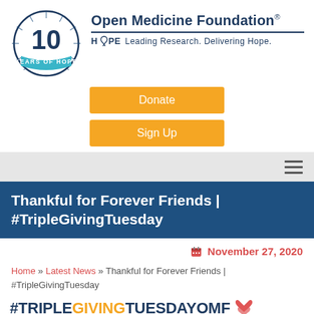[Figure (logo): Open Medicine Foundation 10 Years of Hope circular logo with radiating lines and teal ribbon banner]
Open Medicine Foundation® HOPE Leading Research. Delivering Hope.
[Figure (screenshot): Orange Donate button]
[Figure (screenshot): Orange Sign Up button]
[Figure (screenshot): Hamburger navigation menu icon]
Thankful for Forever Friends | #TripleGivingTuesday
November 27, 2020
Home » Latest News » Thankful for Forever Friends | #TripleGivingTuesday
#TRIPLEGIVINGTUESDAYOMF